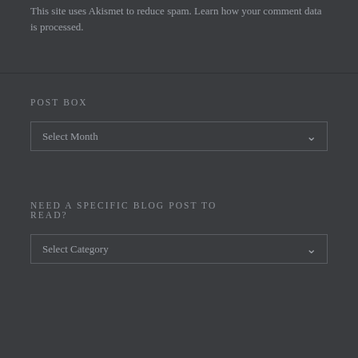This site uses Akismet to reduce spam. Learn how your comment data is processed.
POST BOX
Select Month
NEED A SPECIFIC BLOG POST TO READ?
Select Category